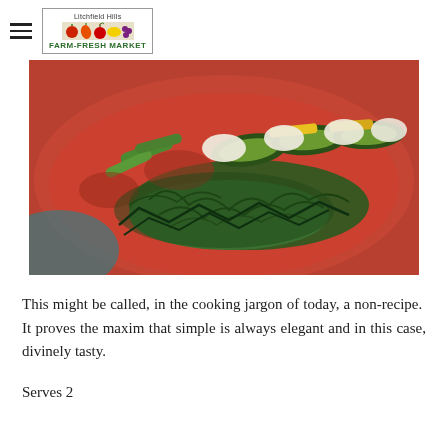Litchfield Hills Farm-Fresh Market
[Figure (photo): A plated dish featuring arugula greens, sliced avocado, yellow bell pepper strips, white cheese (likely burrata or ricotta), and other vegetables arranged on a red ceramic plate, viewed from above.]
This might be called, in the cooking jargon of today, a non-recipe.  It proves the maxim that simple is always elegant and in this case, divinely tasty.
Serves 2